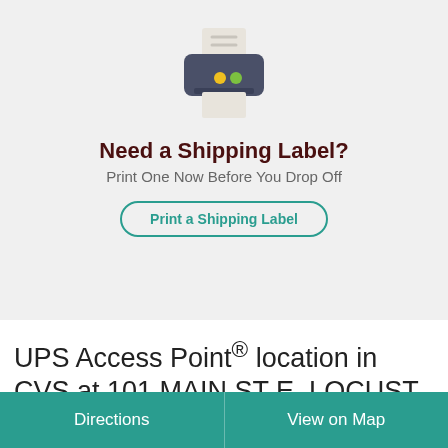[Figure (illustration): Flat icon illustration of a desktop printer with paper coming out, dark blue/grey body with yellow and green indicator lights]
Need a Shipping Label?
Print One Now Before You Drop Off
Print a Shipping Label
UPS Access Point® location in CVS at 101 MAIN ST E, LOCUST, NC
Directions | View on Map